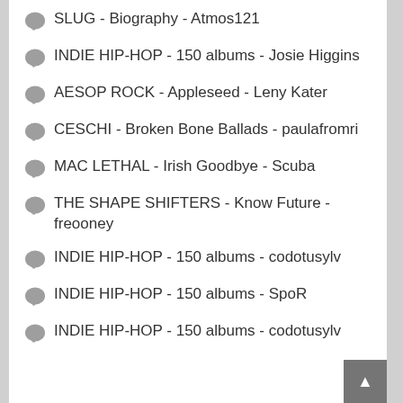SLUG - Biography - Atmos121
INDIE HIP-HOP - 150 albums - Josie Higgins
AESOP ROCK - Appleseed - Leny Kater
CESCHI - Broken Bone Ballads - paulafromri
MAC LETHAL - Irish Goodbye - Scuba
THE SHAPE SHIFTERS - Know Future - freooney
INDIE HIP-HOP - 150 albums - codotusylv
INDIE HIP-HOP - 150 albums - SpoR
INDIE HIP-HOP - 150 albums - codotusylv